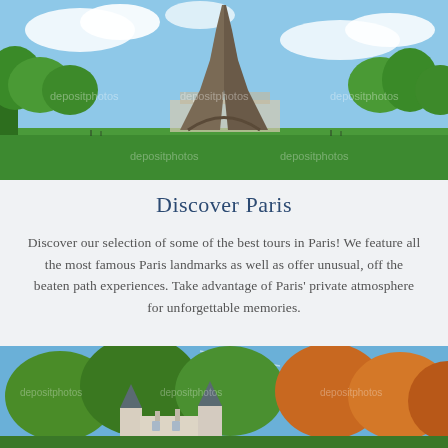[Figure (photo): Eiffel Tower viewed from Champ de Mars with green lawn and trees in foreground, blue sky with clouds]
Discover Paris
Discover our selection of some of the best tours in Paris! We feature all the most famous Paris landmarks as well as offer unusual, off the beaten path experiences. Take advantage of Paris' private atmosphere for unforgettable memories.
[Figure (photo): French chateau with grey conical turrets surrounded by green and autumn-colored trees against blue sky]